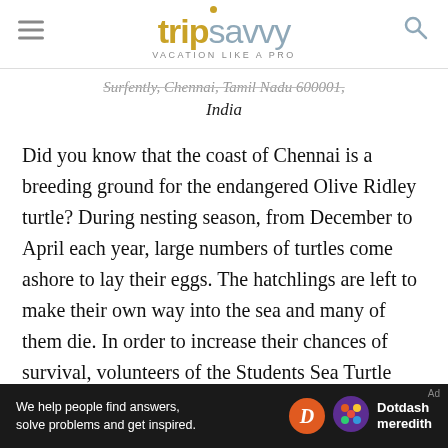TripSavvy — VACATION LIKE A PRO
India
Did you know that the coast of Chennai is a breeding ground for the endangered Olive Ridley turtle? During nesting season, from December to April each year, large numbers of turtles come ashore to lay their eggs. The hatchlings are left to make their own way into the sea and many of them die. In order to increase their chances of survival, volunteers of the Students Sea Turtle Conservation Network (SSTCN) conduct walks to collect their eggs and take them to a hatchery. The walk
[Figure (other): Dotdash Meredith advertisement banner: 'We help people find answers, solve problems and get inspired.']